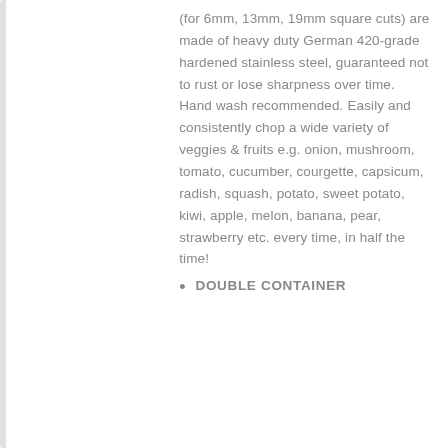(for 6mm, 13mm, 19mm square cuts) are made of heavy duty German 420-grade hardened stainless steel, guaranteed not to rust or lose sharpness over time. Hand wash recommended. Easily and consistently chop a wide variety of veggies & fruits e.g. onion, mushroom, tomato, cucumber, courgette, capsicum, radish, squash, potato, sweet potato, kiwi, apple, melon, banana, pear, strawberry etc. every time, in half the time!
DOUBLE CONTAINER